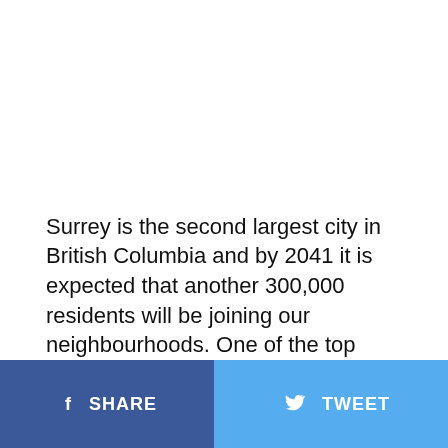Surrey is the second largest city in British Columbia and by 2041 it is expected that another 300,000 residents will be joining our neighbourhoods. One of the top
SHARE   TWEET   ...